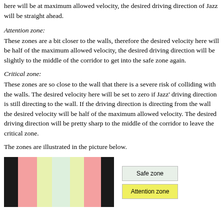here will be at maximum allowed velocity, the desired driving direction of Jazz will be straight ahead.
Attention zone:
These zones are a bit closer to the walls, therefore the desired velocity here will be half of the maximum allowed velocity, the desired driving direction will be slightly to the middle of the corridor to get into the safe zone again.
Critical zone:
These zones are so close to the wall that there is a severe risk of colliding with the walls. The desired velocity here will be set to zero if Jazz' driving direction is still directing to the wall. If the driving direction is directing from the wall the desired velocity will be half of the maximum allowed velocity. The desired driving direction will be pretty sharp to the middle of the corridor to leave the critical zone.
The zones are illustrated in the picture below.
[Figure (illustration): Corridor diagram showing zones (black walls on edges, pink critical zones, yellow attention zones, light green safe zone in middle) with a legend showing Safe zone (light green) and Attention zone (yellow).]